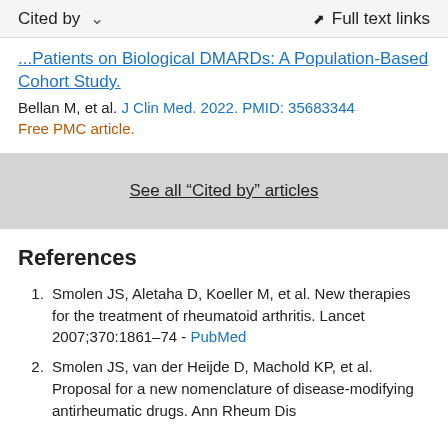Cited by   ∨   Full text links
... Patients on Biological DMARDs: A Population-Based Cohort Study.
Bellan M, et al. J Clin Med. 2022. PMID: 35683344
Free PMC article.
See all "Cited by" articles
References
Smolen JS, Aletaha D, Koeller M, et al. New therapies for the treatment of rheumatoid arthritis. Lancet 2007;370:1861–74 - PubMed
Smolen JS, van der Heijde D, Machold KP, et al. Proposal for a new nomenclature of disease-modifying antirheumatic drugs. Ann Rheum Dis